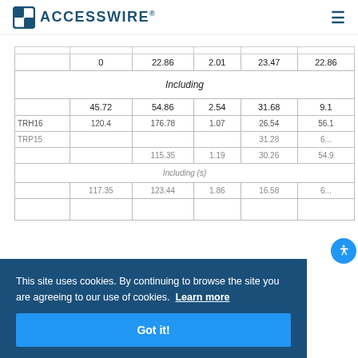ACCESSWIRE
|  |  | 22.86 | 2.01 | 23.47 | 22.86 |
| --- | --- | --- | --- | --- | --- |
|  | 0 | 22.86 | 2.01 | 23.47 | 22.86 |
| Including |  |  |  |  |  |
|  | 45.72 | 54.86 | 2.54 | 31.68 | 9.1 |
| TBH16 | 120.4 | 176.78 | 1.07 | 26.54 | 56.1 |
| TBP15 |  |  |  | 31.28 | 6... |
|  |  | 115.35 | 1.19 | 30.26 | 54.9 |
| Including (s) |  |  |  |  |  |
|  | 117.35 | 123.44 | 1.86 | 16.58 | 6... |